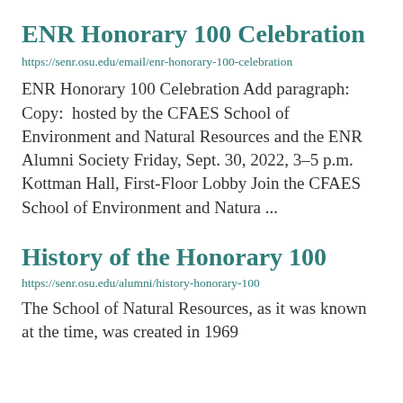ENR Honorary 100 Celebration
https://senr.osu.edu/email/enr-honorary-100-celebration
ENR Honorary 100 Celebration Add paragraph:  Copy:  hosted by the CFAES School of Environment and Natural Resources and the ENR Alumni Society Friday, Sept. 30, 2022, 3–5 p.m. Kottman Hall, First-Floor Lobby Join the CFAES School of Environment and Natura ...
History of the Honorary 100
https://senr.osu.edu/alumni/history-honorary-100
The School of Natural Resources, as it was known at the time, was created in 1969